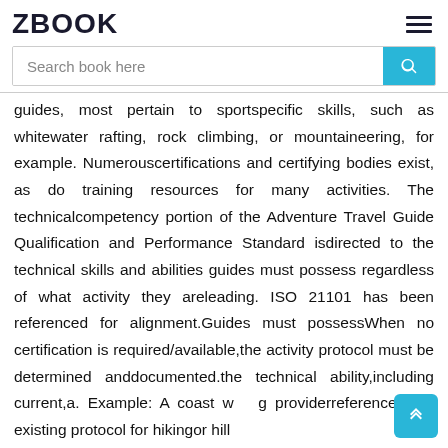ZBOOK
Search book here
guides, most pertain to sportspecific skills, such as whitewater rafting, rock climbing, or mountaineering, for example. Numerouscertifications and certifying bodies exist, as do training resources for many activities. The technicalcompetency portion of the Adventure Travel Guide Qualification and Performance Standard isdirected to the technical skills and abilities guides must possess regardless of what activity they areleading. ISO 21101 has been referenced for alignment.Guides must possessWhen no certification is required/available,the activity protocol must be determined anddocumented.the technical ability,including current,a. Example: A coast w g providerreferences the existing protocol for hikingor hill